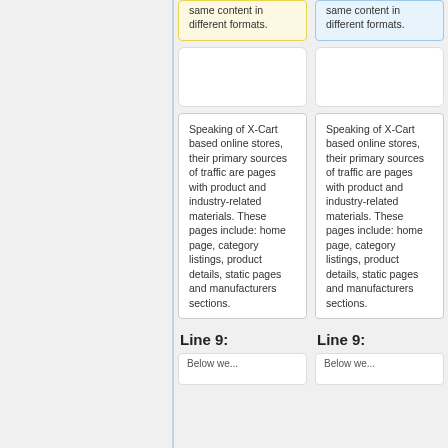same content in different formats.
same content in different formats.
Speaking of X-Cart based online stores, their primary sources of traffic are pages with product and industry-related materials. These pages include: home page, category listings, product details, static pages and manufacturers sections.
Speaking of X-Cart based online stores, their primary sources of traffic are pages with product and industry-related materials. These pages include: home page, category listings, product details, static pages and manufacturers sections.
Line 9:
Line 9:
Below we...
Below we...